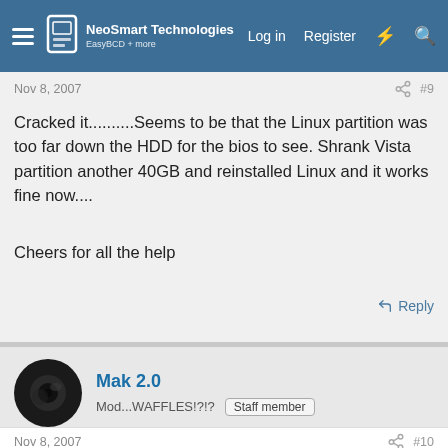NeoSmart Technologies | Log in | Register
Nov 8, 2007 #9
Cracked it..........Seems to be that the Linux partition was too far down the HDD for the bios to see. Shrank Vista partition another 40GB and reinstalled Linux and it works fine now....
Cheers for all the help
Reply
Mak 2.0
Mod...WAFFLES!?!? Staff member
Nov 8, 2007 #10
If that is the case, you might want to check and see if your BIOS has a update. That problem shouldnt occur. With a updated BIOS you wouldnt have that problem.